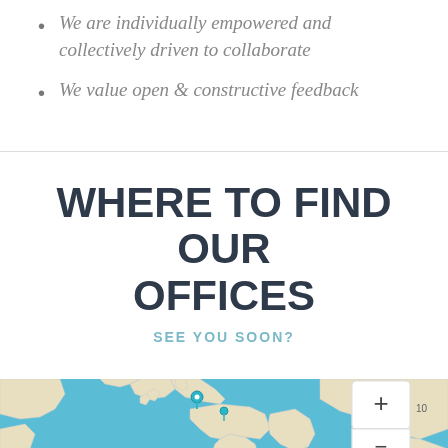We are individually empowered and collectively driven to collaborate
We value open & constructive feedback
WHERE TO FIND OUR OFFICES
SEE YOU SOON?
[Figure (map): Interactive world map showing office locations with teal/blue map pins, featuring Europe, Africa, and part of Asia visible. Map has a light blue ocean background with beige landmasses. A zoom control (+/-) and navigation arrow are visible in the top-right corner.]